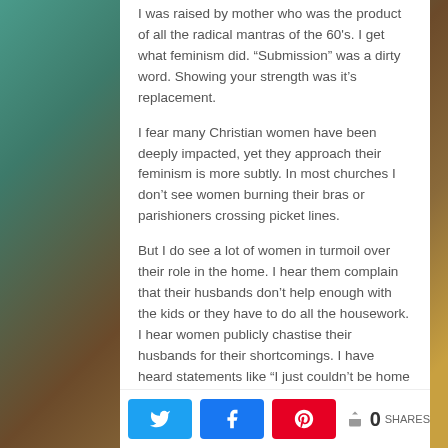I was raised by mother who was the product of all the radical mantras of the 60's. I get what feminism did. “Submission” was a dirty word. Showing your strength was it’s replacement.
I fear many Christian women have been deeply impacted, yet they approach their feminism is more subtly. In most churches I don’t see women burning their bras or parishioners crossing picket lines.
But I do see a lot of women in turmoil over their role in the home. I hear them complain that their husbands don’t help enough with the kids or they have to do all the housework. I hear women publicly chastise their husbands for their shortcomings. I have heard statements like “I just couldn’t be home with
0 SHARES